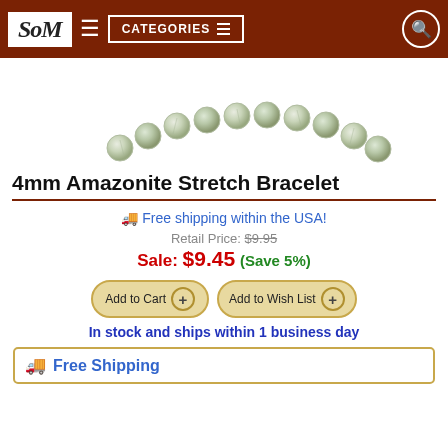SoM | CATEGORIES
[Figure (photo): Close-up photo of a beaded bracelet/necklace with round pale green/white amazonite beads on a white background]
4mm Amazonite Stretch Bracelet
🚚 Free shipping within the USA!
Retail Price: $9.95
Sale: $9.45 (Save 5%)
Add to Cart  +  Add to Wish List  +
In stock and ships within 1 business day
🚚 Free Shipping